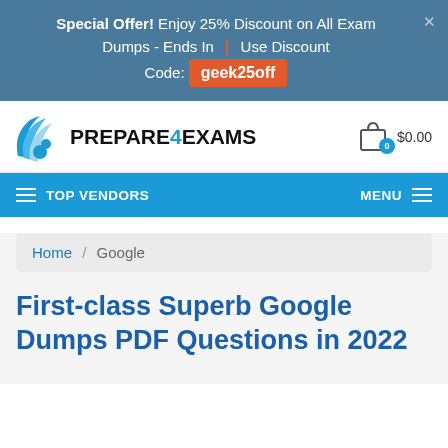Special Offer! Enjoy 25% Discount on All Exam Dumps - Ends In | Use Discount Code: geek25off
[Figure (logo): Prepare4Exams logo with blue wing/bird icon and text PREPARE4EXAMS]
$0.00
TOP VENDORS   MENU
Home / Google
First-class Superb Google Dumps PDF Questions in 2022